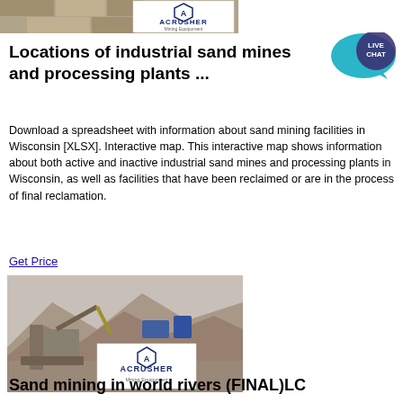[Figure (photo): Top image showing stone/brick wall scene with ACRUSHER Mining Equipment logo overlay]
Locations of industrial sand mines and processing plants ...
[Figure (illustration): Live Chat bubble icon in teal/dark blue]
Download a spreadsheet with information about sand mining facilities in Wisconsin [XLSX]. Interactive map. This interactive map shows information about both active and inactive industrial sand mines and processing plants in Wisconsin, as well as facilities that have been reclaimed or are in the process of final reclamation.
Get Price
[Figure (photo): Mining site with excavator and heavy equipment in mountainous terrain, with ACRUSHER Mining Equipment logo overlay]
Sand mining in world rivers (FINAL)LC